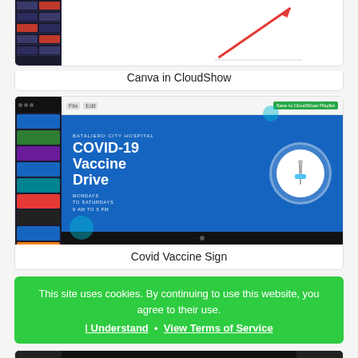[Figure (screenshot): Partial screenshot of Canva in CloudShow interface showing a presentation editor with slide thumbnails on the left and a main editing area with a red arrow chart on the right]
Canva in CloudShow
[Figure (screenshot): Screenshot of Canva editor showing a COVID-19 Vaccine Drive sign with blue background, white bold text, schedule information (Mondays to Saturdays 9 AM to 5 PM), and a vaccine/syringe image in a circle on the right]
Covid Vaccine Sign
This site uses cookies. By continuing to use this website, you agree to their use.
I Understand · View Terms of Service
[Figure (screenshot): Partial screenshot showing the bottom of another presentation template with dark background and 'Hidden Sound Cafe' text]